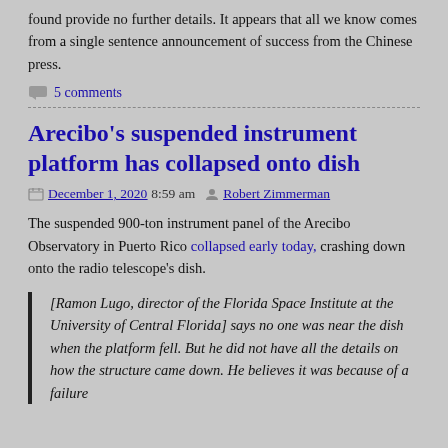found provide no further details. It appears that all we know comes from a single sentence announcement of success from the Chinese press.
5 comments
Arecibo's suspended instrument platform has collapsed onto dish
December 1, 2020 8:59 am  Robert Zimmerman
The suspended 900-ton instrument panel of the Arecibo Observatory in Puerto Rico collapsed early today, crashing down onto the radio telescope's dish.
[Ramon Lugo, director of the Florida Space Institute at the University of Central Florida] says no one was near the dish when the platform fell. But he did not have all the details on how the structure came down. He believes it was because of a failure